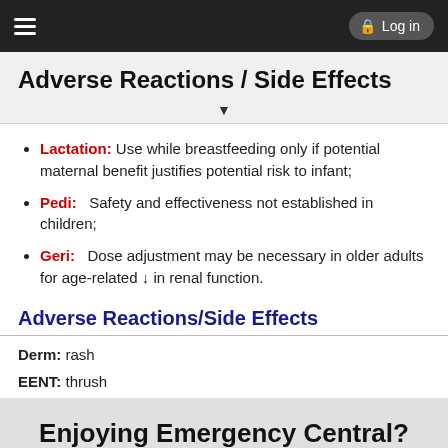Adverse Reactions / Side Effects
Lactation: Use while breastfeeding only if potential maternal benefit justifies potential risk to infant;
Pedi: Safety and effectiveness not established in children;
Geri: Dose adjustment may be necessary in older adults for age-related ↓ in renal function.
Adverse Reactions/Side Effects
Derm: rash
EENT: thrush
Enjoying Emergency Central?
Purchase a subscription
I'm already a subscriber